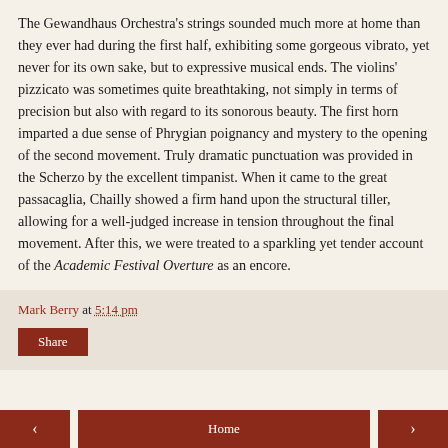The Gewandhaus Orchestra's strings sounded much more at home than they ever had during the first half, exhibiting some gorgeous vibrato, yet never for its own sake, but to expressive musical ends. The violins' pizzicato was sometimes quite breathtaking, not simply in terms of precision but also with regard to its sonorous beauty. The first horn imparted a due sense of Phrygian poignancy and mystery to the opening of the second movement. Truly dramatic punctuation was provided in the Scherzo by the excellent timpanist. When it came to the great passacaglia, Chailly showed a firm hand upon the structural tiller, allowing for a well-judged increase in tension throughout the final movement. After this, we were treated to a sparkling yet tender account of the Academic Festival Overture as an encore.
Mark Berry at 5:14 pm
Share
‹
Home
›